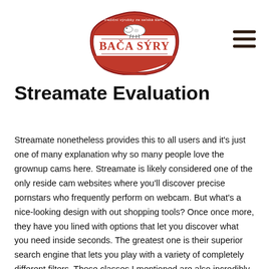[Figure (logo): Bača Sýry logo — red badge shape with cow illustration and text 'BAČA SÝRY' in bold red letters, surrounded by text 'tradiční výrobky ze selské šlehy']
Streamate Evaluation
Streamate nonetheless provides this to all users and it's just one of many explanation why so many people love the grownup cams here. Streamate is likely considered one of the only reside cam websites where you'll discover precise pornstars who frequently perform on webcam. But what's a nice-looking design with out shopping tools? Once once more, they have you lined with options that let you discover what you need inside seconds. The greatest one is their superior search engine that lets you play with a variety of completely different filters. Those classes I mentioned are also incredibly helpful.